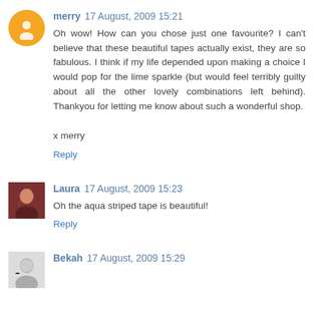merry 17 August, 2009 15:21
Oh wow! How can you chose just one favourite? I can't believe that these beautiful tapes actually exist, they are so fabulous. I think if my life depended upon making a choice I would pop for the lime sparkle (but would feel terribly guilty about all the other lovely combinations left behind). Thankyou for letting me know about such a wonderful shop.

x merry
Reply
Laura 17 August, 2009 15:23
Oh the aqua striped tape is beautiful!
Reply
Bekah 17 August, 2009 15:29